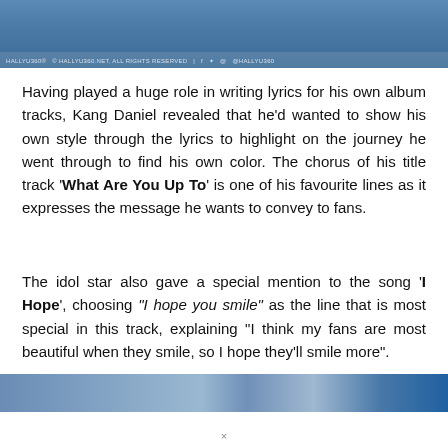[Figure (photo): Top portion of a photo showing a person at what appears to be a press conference or event with a blue backdrop bearing text. A watermark bar at the bottom of the image reads HALLYU360 copyright notice and social media handles.]
Having played a huge role in writing lyrics for his own album tracks, Kang Daniel revealed that he'd wanted to show his own style through the lyrics to highlight on the journey he went through to find his own color. The chorus of his title track 'What Are You Up To' is one of his favourite lines as it expresses the message he wants to convey to fans.
The idol star also gave a special mention to the song 'I Hope', choosing "I hope you smile" as the line that is most special in this track, explaining "I think my fans are most beautiful when they smile, so I hope they'll smile more".
[Figure (photo): Bottom strip of a photo showing a partial blue-toned image, cropped at the bottom of the page.]
×